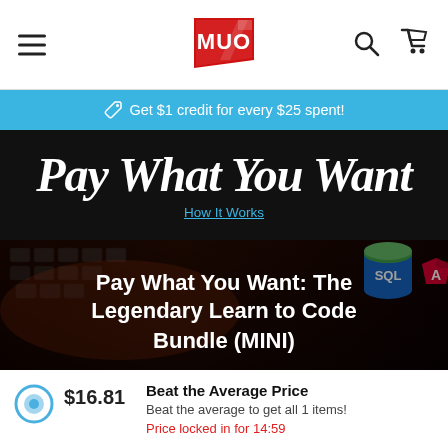MUO — hamburger menu, search icon, cart icon
🏷 Get $1 credit for every $25 spent!
Pay What You Want
How It Works
[Figure (photo): Laptop keyboard background with SQL and Angular logos overlaid, and bold white text reading: Pay What You Want: The Legendary Learn to Code Bundle (MINI)]
$16.81   Beat the Average Price
Beat the average to get all 1 items!
Price locked in for 14:59